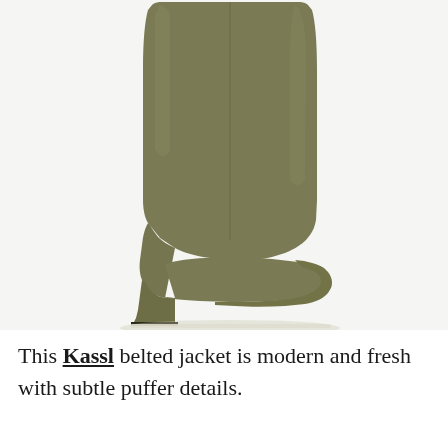[Figure (photo): Side profile of an olive/khaki green leather tall boot with a block heel and square toe, photographed on a white background.]
This Kassl belted jacket is modern and fresh with subtle puffer details.